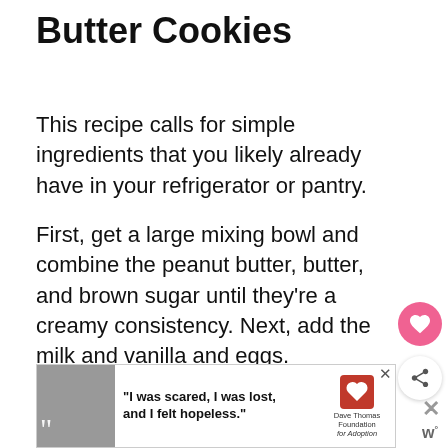Butter Cookies
This recipe calls for simple ingredients that you likely already have in your refrigerator or pantry.
First, get a large mixing bowl and combine the peanut butter, butter, and brown sugar until they're a creamy consistency. Next, add the milk and vanilla and eggs.
In a separate bowl, whisk together your dry ingredients – flour, salt, and baking soda. Now you will start slowly adding your dry ingredients to your wet ingredients being sure to mix them together thoroughly.
[Figure (other): Advertisement banner with a woman's photo, quote 'I was scared, I was lost, and I felt hopeless.' and Dave Thomas Foundation for Adoption logo]